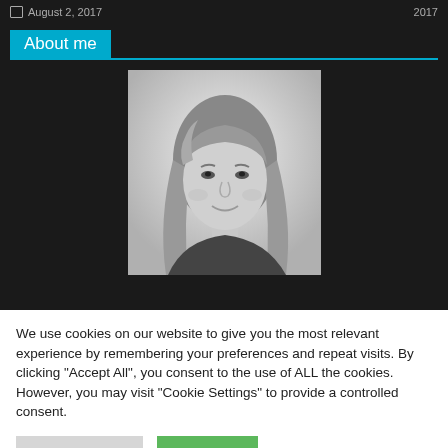August 2, 2017   2017
About me
[Figure (photo): Black and white headshot portrait of a woman with long straight hair, smiling, against a light background]
We use cookies on our website to give you the most relevant experience by remembering your preferences and repeat visits. By clicking "Accept All", you consent to the use of ALL the cookies. However, you may visit "Cookie Settings" to provide a controlled consent.
Cookie Settings   Accept All